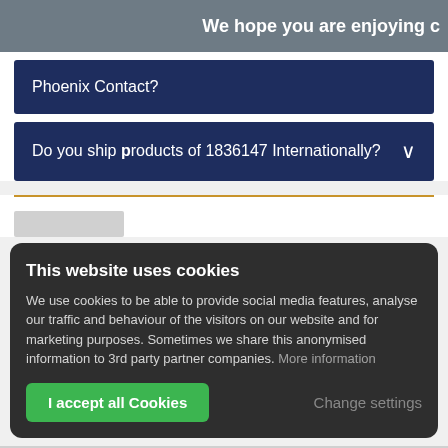We hope you are enjoying c
Phoenix Contact?
Do you ship products of 1836147 Internationally?
This website uses cookies
We use cookies to be able to provide social media features, analyse our traffic and behaviour of the visitors on our website and for marketing purposes. Sometimes we share this anonymised information to 3rd party partner companies. More information
I accept all Cookies
Change settings